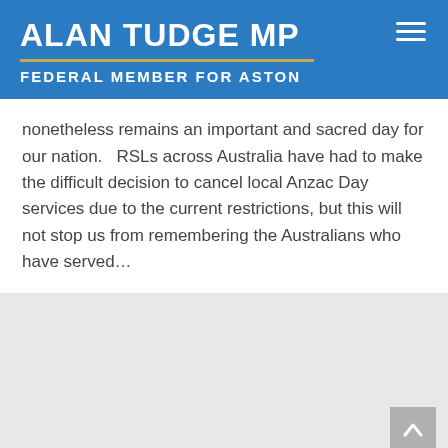ALAN TUDGE MP
FEDERAL MEMBER FOR ASTON
nonetheless remains an important and sacred day for our nation.   RSLs across Australia have had to make the difficult decision to cancel local Anzac Day services due to the current restrictions, but this will not stop us from remembering the Australians who have served…
[Figure (other): Gray placeholder block at bottom of page with a scroll-to-top arrow button in the bottom-right corner]